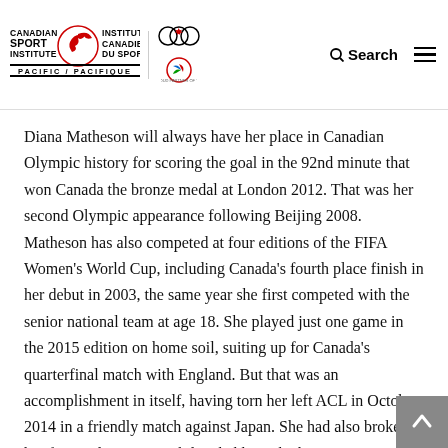[Figure (logo): Canadian Sport Institute Pacific logo with Institut Canadien du Sport wordmark, Olympic rings logo, Paralympic logo, and navigation icons (search and hamburger menu)]
Diana Matheson will always have her place in Canadian Olympic history for scoring the goal in the 92nd minute that won Canada the bronze medal at London 2012. That was her second Olympic appearance following Beijing 2008. Matheson has also competed at four editions of the FIFA Women's World Cup, including Canada's fourth place finish in her debut in 2003, the same year she first competed with the senior national team at age 18. She played just one game in the 2015 edition on home soil, suiting up for Canada's quarterfinal match with England. But that was an accomplishment in itself, having torn her left ACL in October 2014 in a friendly match against Japan. She had also broken her foot early in 2015 while rehabbing the knee injury. In early 2016 she was part of Canada's second place finish at the CONCACAF Olympic Qualifiers where the team earned a spot in Rio. Mathe...